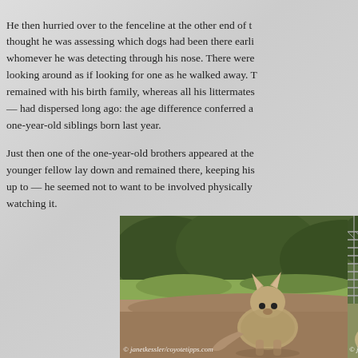He then hurried over to the fenceline at the other end of the field — I thought he was assessing which dogs had been there earlier, or checking on whomever he was detecting through his nose. There were no dogs there, but he looking around as if looking for one as he walked away. This older male had remained with his birth family, whereas all his littermates — and the pup — had dispersed long ago: the age difference conferred a maturity over the one-year-old siblings born last year.
Just then one of the one-year-old brothers appeared at the scene. The younger fellow lay down and remained there, keeping his distance from what was up to — he seemed not to want to be involved physically with whatever was watching it.
[Figure (photo): A coyote sitting on dirt ground looking toward the camera, with green bushes and grass in the background. Watermark reads © janetkessler/coyotetipps.com]
[Figure (photo): Partial view of a second photo showing a chain-link fence and a coyote partially visible. Watermark reads © janetkes...]